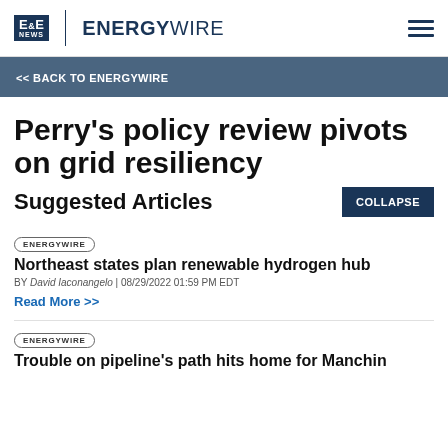E&E NEWS | ENERGYWIRE
<< BACK TO ENERGYWIRE
Perry's policy review pivots on grid resiliency
Suggested Articles
COLLAPSE
ENERGYWIRE
Northeast states plan renewable hydrogen hub
BY David Iaconangelo | 08/29/2022 01:59 PM EDT
Read More >>
ENERGYWIRE
Trouble on pipeline's path hits home for Manchin